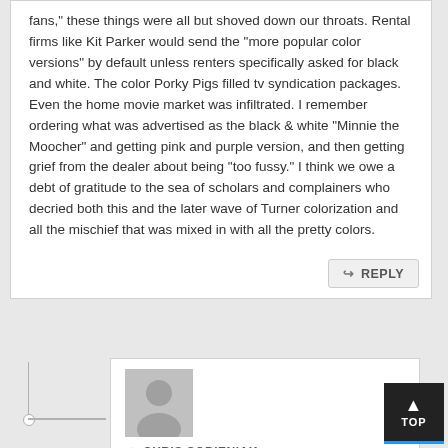fans," these things were all but shoved down our throats. Rental firms like Kit Parker would send the “more popular color versions” by default unless renters specifically asked for black and white. The color Porky Pigs filled tv syndication packages. Even the home movie market was infiltrated. I remember ordering what was advertised as the black & white “Minnie the Moocher” and getting pink and purple version, and then getting grief from the dealer about being “too fussy.” I think we owe a debt of gratitude to the sea of scholars and complainers who decried both this and the later wave of Turner colorization and all the mischief that was mixed in with all the pretty colors.
REPLY
[Figure (illustration): Generic user avatar placeholder — grey silhouette of a person on grey background]
CHRIS SOBIENIAK
NOVEMBER 08, 2013 9:43:56 AM